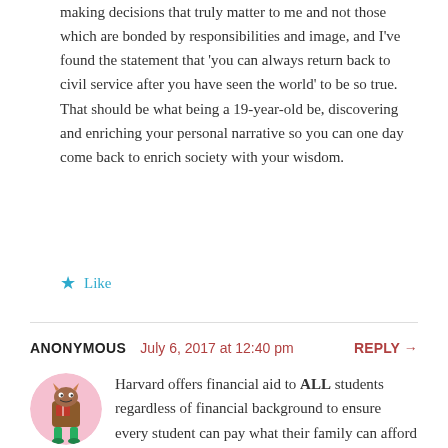making decisions that truly matter to me and not those which are bonded by responsibilities and image, and I've found the statement that 'you can always return back to civil service after you have seen the world' to be so true. That should be what being a 19-year-old be, discovering and enriching your personal narrative so you can one day come back to enrich society with your wisdom.
★ Like
ANONYMOUS   July 6, 2017 at 12:40 pm   REPLY →
[Figure (illustration): Round avatar with pink background showing a cartoon monster character — brown body with horns, holding a book, with green legs]
Harvard offers financial aid to ALL students regardless of financial background to ensure every student can pay what their family can afford to. This makes the issue of a PSC scholarship moot. She doesn't need one when